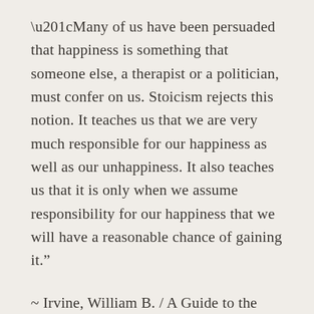“Many of us have been persuaded that happiness is something that someone else, a therapist or a politician, must confer on us. Stoicism rejects this notion. It teaches us that we are very much responsible for our happiness as well as our unhappiness. It also teaches us that it is only when we assume responsibility for our happiness that we will have a reasonable chance of gaining it.”
~ Irvine, William B. / A Guide to the Good Life: The Ancient Art of Stoic Joy